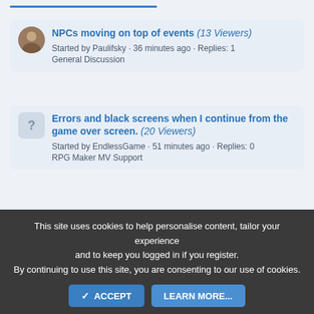NPCs moving on top of events (13 Viewers) Started by Paulifsky · 36 minutes ago · Replies: 1 General Discussion
Errors and black screens when I continue from the game over screen. (20 Viewers) Started by EndlessGame · 51 minutes ago · Replies: 0 RPG Maker MV Support
Stat summing (13 Viewers) Started by lee_is_very_gaming_rn · Today at 5:29 AM · Replies: 1 RPG Maker MV Support
RMMV Make event appear to be "Below
This site uses cookies to help personalise content, tailor your experience and to keep you logged in if you register. By continuing to use this site, you are consenting to our use of cookies.
✓ ACCEPT   LEARN MORE...